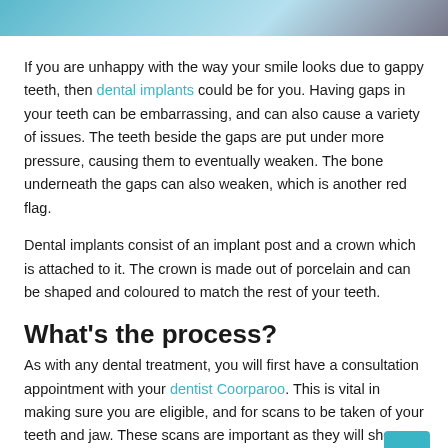[Figure (photo): Top portion of a dental/medical photo showing someone in blue gloves or clothing, cropped to a thin strip at the top of the page.]
If you are unhappy with the way your smile looks due to gappy teeth, then dental implants could be for you. Having gaps in your teeth can be embarrassing, and can also cause a variety of issues. The teeth beside the gaps are put under more pressure, causing them to eventually weaken. The bone underneath the gaps can also weaken, which is another red flag.
Dental implants consist of an implant post and a crown which is attached to it. The crown is made out of porcelain and can be shaped and coloured to match the rest of your teeth.
What's the process?
As with any dental treatment, you will first have a consultation appointment with your dentist Coorparoo. This is vital in making sure you are eligible, and for scans to be taken of your teeth and jaw. These scans are important as they will show how much bone you have left, how big the gap is and more. If you decide to go